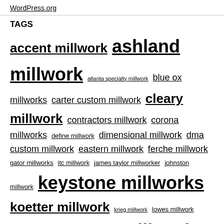WordPress.org
TAGS
accent millwork ashland millwork atlanta specialty millwork blue ox millworks carter custom millwork cleary millwork contractors millwork corona millworks define millwork dimensional millwork dma custom millwork eastern millwork ferche millwork gator millworks itc millwork james taylor millworker johnston millwork keystone millworks koetter millwork krieg millwork lowes millwork master millwork mccoy millwork